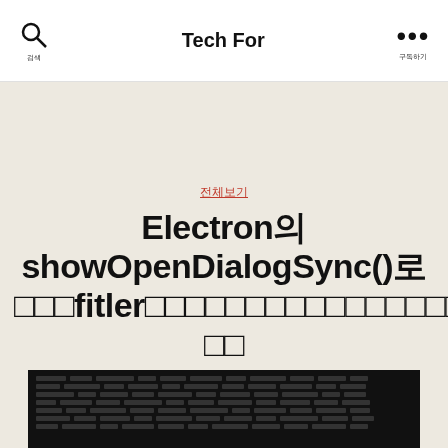Tech For
전체보기
Electron의 showOpenDialogSync()로 fitler없이 파일 선택창을 열면 왜 무한 재귀가 발생하는가
작성자: editor  2021년5월4일
[Figure (screenshot): Dark code block at the bottom of the page showing lines of code text]